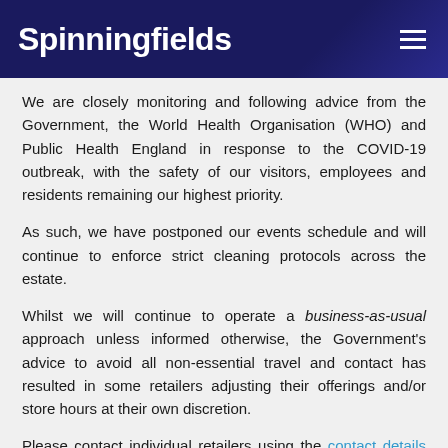Spinningfields
We are closely monitoring and following advice from the Government, the World Health Organisation (WHO) and Public Health England in response to the COVID-19 outbreak, with the safety of our visitors, employees and residents remaining our highest priority.
As such, we have postponed our events schedule and will continue to enforce strict cleaning protocols across the estate.
Whilst we will continue to operate a business-as-usual approach unless informed otherwise, the Government's advice to avoid all non-essential travel and contact has resulted in some retailers adjusting their offerings and/or store hours at their own discretion.
Please contact individual retailers using the contact details supplied on their respective venue pages on